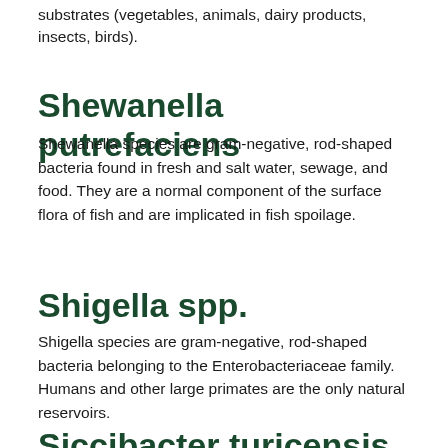substrates (vegetables, animals, dairy products, insects, birds).
Shewanella putrefaciens
Shewanella species are gram-negative, rod-shaped bacteria found in fresh and salt water, sewage, and food. They are a normal component of the surface flora of fish and are implicated in fish spoilage.
Shigella spp.
Shigella species are gram-negative, rod-shaped bacteria belonging to the Enterobacteriaceae family. Humans and other large primates are the only natural reservoirs.
Siccibacter turicensis